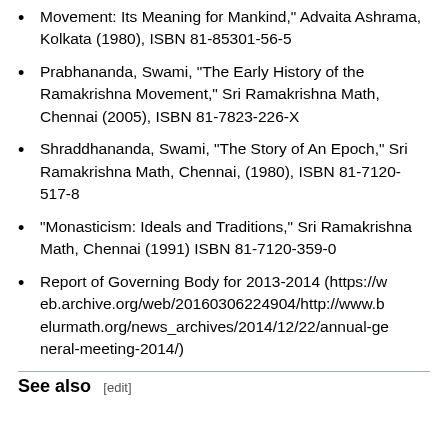Movement: Its Meaning for Mankind," Advaita Ashrama, Kolkata (1980), ISBN 81-85301-56-5
Prabhananda, Swami, "The Early History of the Ramakrishna Movement," Sri Ramakrishna Math, Chennai (2005), ISBN 81-7823-226-X
Shraddhananda, Swami, "The Story of An Epoch," Sri Ramakrishna Math, Chennai, (1980), ISBN 81-7120-517-8
"Monasticism: Ideals and Traditions," Sri Ramakrishna Math, Chennai (1991) ISBN 81-7120-359-0
Report of Governing Body for 2013-2014 (https://web.archive.org/web/20160306224904/http://www.belurmath.org/news_archives/2014/12/22/annual-general-meeting-2014/)
See also [edit]